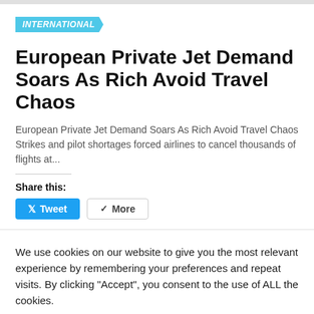INTERNATIONAL
European Private Jet Demand Soars As Rich Avoid Travel Chaos
European Private Jet Demand Soars As Rich Avoid Travel Chaos
Strikes and pilot shortages forced airlines to cancel thousands of flights at...
Share this:
Tweet | More
We use cookies on our website to give you the most relevant experience by remembering your preferences and repeat visits. By clicking “Accept”, you consent to the use of ALL the cookies.
Cookie settings | ACCEPT